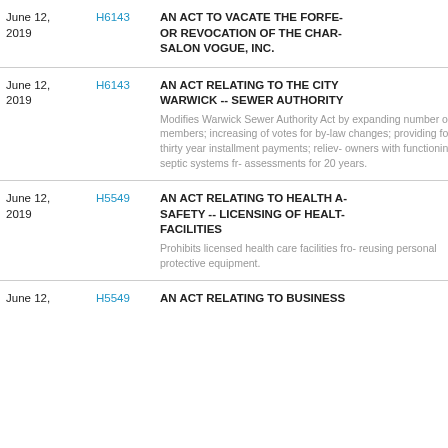| Date | Bill | Description |
| --- | --- | --- |
| June 12, 2019 | H6143 | AN ACT TO VACATE THE FORFE- OR REVOCATION OF THE CHAR- SALON VOGUE, INC. |
| June 12, 2019 | H6143 | AN ACT RELATING TO THE CITY WARWICK -- SEWER AUTHORITY | Modifies Warwick Sewer Authority Act by expanding number of members; increasing of votes for by-law changes; providing for as thirty year installment payments; relieving owners with functioning septic systems from assessments for 20 years. |
| June 12, 2019 | H5549 | AN ACT RELATING TO HEALTH A SAFETY -- LICENSING OF HEALT FACILITIES | Prohibits licensed health care facilities from reusing personal protective equipment. |
| June 12, | H5549 | AN ACT RELATING TO BUSINESS |